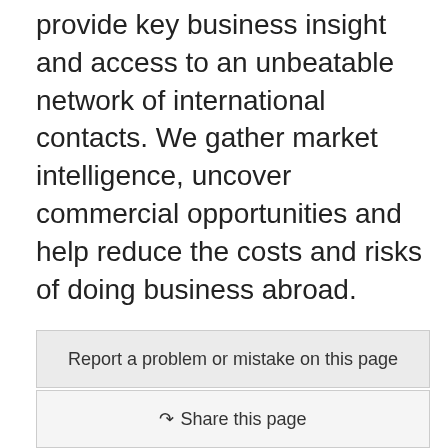provide key business insight and access to an unbeatable network of international contacts. We gather market intelligence, uncover commercial opportunities and help reduce the costs and risks of doing business abroad.
Doing business in Vietnam
Contact a trade commissioner in Vietnam
Report a problem or mistake on this page
Share this page